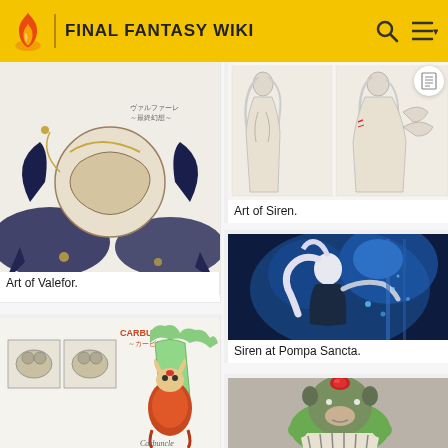FINAL FANTASY WIKI
[Figure (illustration): Art of Valefor — detailed monochrome illustration of a large dragon/aeon with bat wings and serpentine body with ornate chains and decorations]
Art of Valefor.
[Figure (illustration): Art of Siren — sketch style illustration of a female figure in flowing robes/dress]
Art of Siren.
[Figure (screenshot): Siren at Pompa Sancta — blue-tinted cinematic screenshot of a white-haired character in glowing blue light]
Siren at Pompa Sancta.
[Figure (illustration): Art of Carbuncle — sketch/concept art showing Carbuncle creature designs with CARBUNCLE label]
[Figure (photo): Green and brown stuffed animal/plush toy character wearing a striped outfit with a red gem on its head]